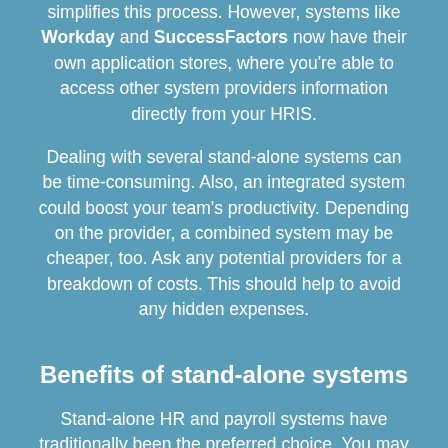simplifies this process. However, systems like Workday and SuccessFactors now have their own application stores, where you're able to access other system providers information directly from your HRIS.
Dealing with several stand-alone systems can be time-consuming. Also, an integrated system could boost your team's productivity. Depending on the provider, a combined system may be cheaper, too. Ask any potential providers for a breakdown of costs. This should help to avoid any hidden expenses.
Benefits of stand-alone systems
Stand-alone HR and payroll systems have traditionally been the preferred choice. You may also have an existing system in place. For instance, Workday, Oracle, or SuccessFactors. In some cases, it may be easier to upgrade your existing system...